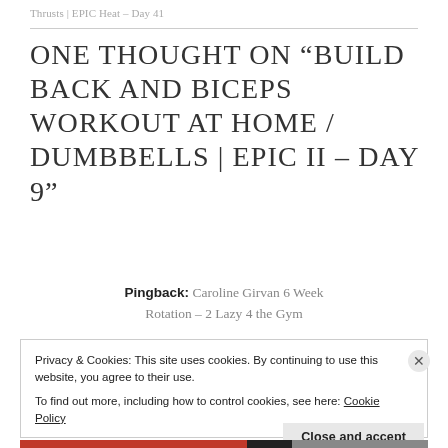Thrusts | EPIC Heat – Day 41
ONE THOUGHT ON “BUILD BACK AND BICEPS WORKOUT AT HOME / DUMBBELLS | EPIC II – DAY 9”
Pingback: Caroline Girvan 6 Week Rotation – 2 Lazy 4 the Gym
Privacy & Cookies: This site uses cookies. By continuing to use this website, you agree to their use.
To find out more, including how to control cookies, see here: Cookie Policy
Close and accept